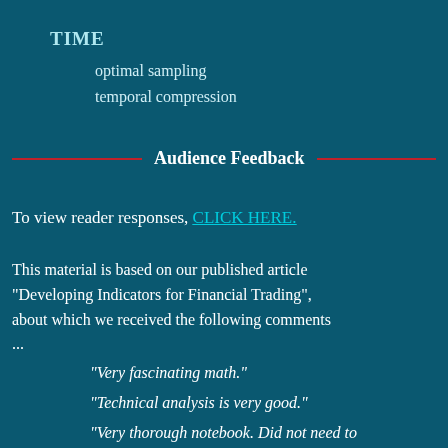TIME
optimal sampling
temporal compression
Audience Feedback
To view reader responses, CLICK HERE.
This material is based on our published article "Developing Indicators for Financial Trading", about which we received the following comments ...
"Very fascinating math."
"Technical analysis is very good."
"Very thorough notebook. Did not need to